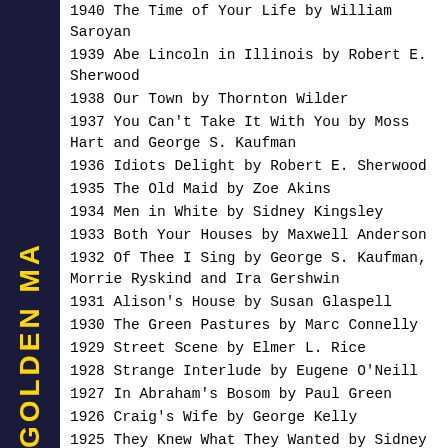1940 The Time of Your Life by William Saroyan
1939 Abe Lincoln in Illinois by Robert E. Sherwood
1938 Our Town by Thornton Wilder
1937 You Can't Take It With You by Moss Hart and George S. Kaufman
1936 Idiots Delight by Robert E. Sherwood
1935 The Old Maid by Zoe Akins
1934 Men in White by Sidney Kingsley
1933 Both Your Houses by Maxwell Anderson
1932 Of Thee I Sing by George S. Kaufman, Morrie Ryskind and Ira Gershwin
1931 Alison's House by Susan Glaspell
1930 The Green Pastures by Marc Connelly
1929 Street Scene by Elmer L. Rice
1928 Strange Interlude by Eugene O'Neill
1927 In Abraham's Bosom by Paul Green
1926 Craig's Wife by George Kelly
1925 They Knew What They Wanted by Sidney Howard
1924 Hell-Bent Fer Heaven by Hatcher Hughes
1923 Icebound by Owen Davis